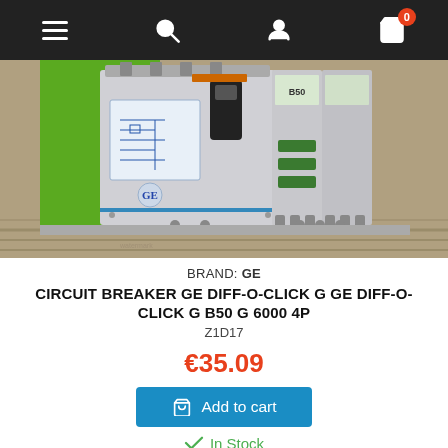Navigation bar with menu, search, account, and cart (0 items) icons
[Figure (photo): Close-up photo of a GE DIFF-O-CLICK G circuit breaker (4-pole, B50, 6000) mounted on a DIN rail with a green background]
BRAND: GE
CIRCUIT BREAKER GE DIFF-O-CLICK G GE DIFF-O-CLICK G B50 G 6000 4P
Z1D17
€35.09
Add to cart
In Stock